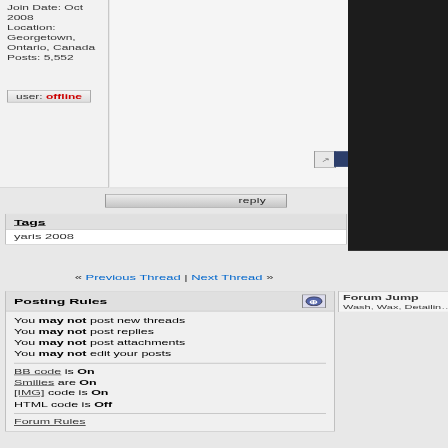Join Date: Oct 2008
Location: Georgetown, Ontario, Canada
Posts: 5,552
user: offline
reply
Tags
yaris 2008
« Previous Thread | Next Thread »
Posting Rules
You may not post new threads
You may not post replies
You may not post attachments
You may not edit your posts
BB code is On
Smilies are On
[IMG] code is On
HTML code is Off
Forum Rules
Forum Jump
Wash, Wax, Detailing, Exterior Repa